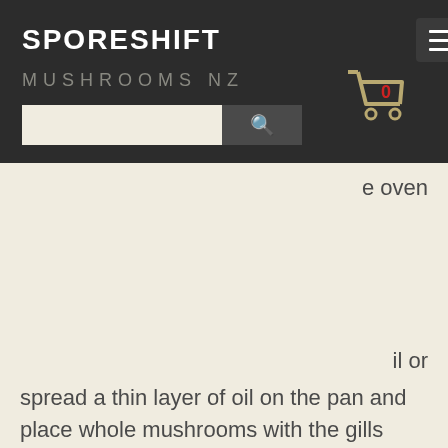SPORESHIFT
MUSHROOMS NZ
e oven
il or spread a thin layer of oil on the pan and place whole mushrooms with the gills facing up, then drizzle oil over mushrooms. Add any herbs or spices here, even a drizzle of soy sauce or balsamic vinegar adds tremendous flavour. Simply chuck the mushrooms in and bake until browned. This usually takes between 15-20 minutes depending on how thin the mushrooms are chopped.